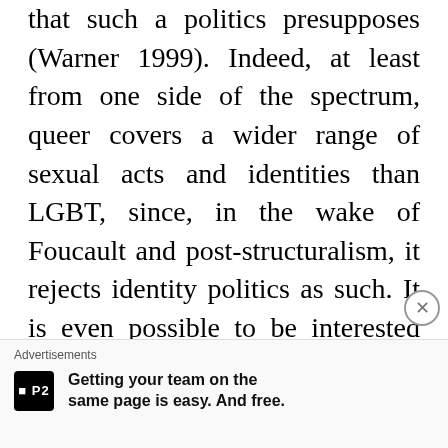that such a politics presupposes (Warner 1999). Indeed, at least from one side of the spectrum, queer covers a wider range of sexual acts and identities than LGBT, since, in the wake of Foucault and post-structuralism, it rejects identity politics as such. It is even possible to be interested solely in sex with people of the opposite gender and queer, which is not the case for those who identify as gay or lesbian.

The queer movement has met with a great deal of resistance within the gay and lesbian...
[Figure (other): Advertisement banner: P2 logo with text 'Getting your team on the same page is easy. And free.']